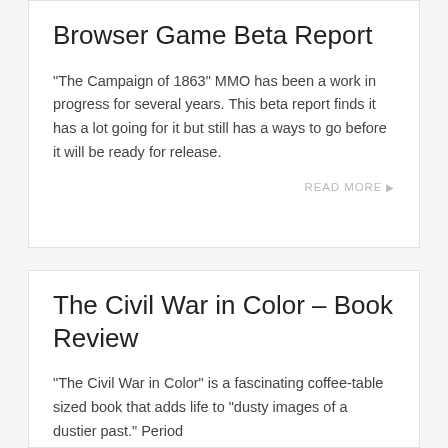Browser Game Beta Report
“The Campaign of 1863” MMO has been a work in progress for several years. This beta report finds it has a lot going for it but still has a ways to go before it will be ready for release.
READ MORE
The Civil War in Color – Book Review
“The Civil War in Color” is a fascinating coffee-table sized book that adds life to “dusty images of a dustier past.” Period